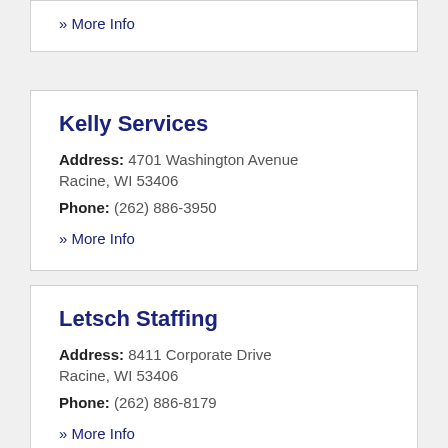» More Info
Kelly Services
Address: 4701 Washington Avenue Racine, WI 53406
Phone: (262) 886-3950
» More Info
Letsch Staffing
Address: 8411 Corporate Drive Racine, WI 53406
Phone: (262) 886-8179
» More Info